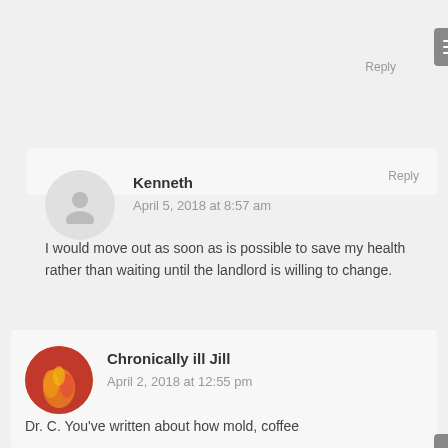Reply
Kenneth
April 5, 2018 at 8:57 am
I would move out as soon as is possible to save my health rather than waiting until the landlord is willing to change.
Reply
Chronically ill Jill
April 2, 2018 at 12:55 pm
Dr. C. You've written about how mold, coffee...